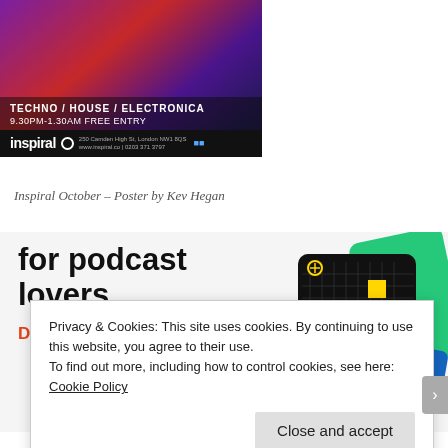[Figure (photo): Inspiral venue poster for October event - Techno / House / Electronica, 9.30pm-1.30am Free Entry, Inspiral logo, 250 Camden High St, London NW1 8QS, www.inspiral.co, 0203 371 3797]
Inspiral October – Poster by Kev Hegan
[Figure (illustration): Advertisement for a podcast app - 'for podcast lovers. Download now' with podcast app card illustrations including 99% Invisible]
Privacy & Cookies: This site uses cookies. By continuing to use this website, you agree to their use.
To find out more, including how to control cookies, see here: Cookie Policy
Close and accept